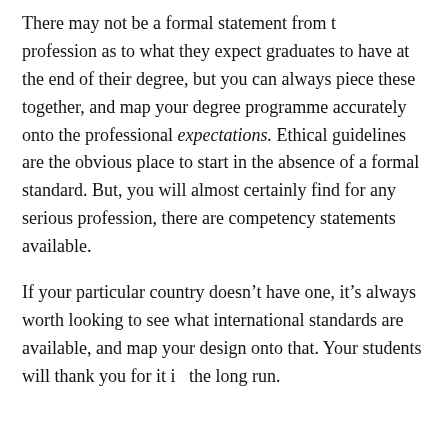There may not be a formal statement from the profession as to what they expect graduates to have at the end of their degree, but you can always piece these together, and map your degree programme accurately onto the professional expectations. Ethical guidelines are the obvious place to start in the absence of a formal standard. But, you will almost certainly find for any serious profession, there are competency statements available.
If your particular country doesn't have one, it's always worth looking to see what international standards are available, and map your design onto that. Your students will thank you for it in the long run.